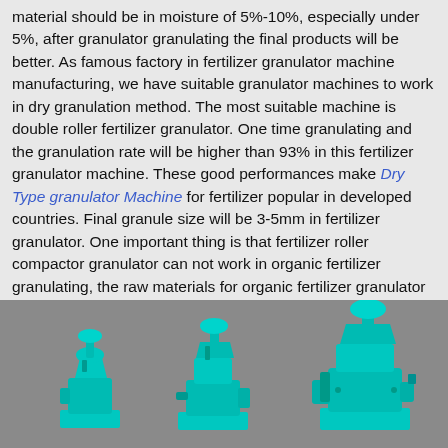material should be in moisture of 5%-10%, especially under 5%, after granulator granulating the final products will be better. As famous factory in fertilizer granulator machine manufacturing, we have suitable granulator machines to work in dry granulation method. The most suitable machine is double roller fertilizer granulator. One time granulating and the granulation rate will be higher than 93% in this fertilizer granulator machine. These good performances make Dry Type granulator Machine for fertilizer popular in developed countries. Final granule size will be 3-5mm in fertilizer granulator. One important thing is that fertilizer roller compactor granulator can not work in organic fertilizer granulating, the raw materials for organic fertilizer granulator making are too wet.
[Figure (photo): Photo of teal/cyan colored fertilizer granulator machines against a gray background, showing multiple granulator units of different sizes]